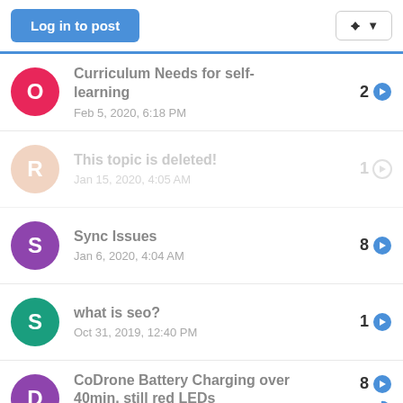Log in to post
Curriculum Needs for self-learning — Feb 5, 2020, 6:18 PM — 2 replies
This topic is deleted! — Jan 15, 2020, 4:05 AM — 1 reply
Sync Issues — Jan 6, 2020, 4:04 AM — 8 replies
what is seo? — Oct 31, 2019, 12:40 PM — 1 reply
CoDrone Battery Charging over 40min, still red LEDs — Oct 31, 2019, 10:25 PM — 8 replies